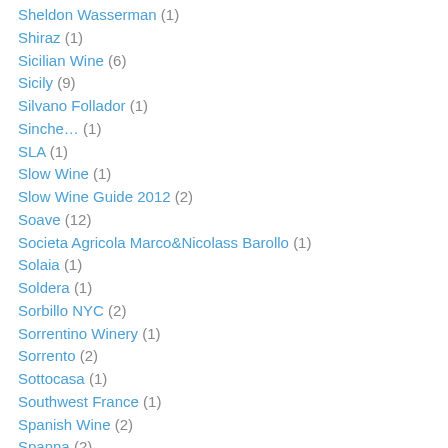Sheldon Wasserman (1)
Shiraz (1)
Sicilian Wine (6)
Sicily (9)
Silvano Follador (1)
Sinche… (1)
SLA (1)
Slow Wine (1)
Slow Wine Guide 2012 (2)
Soave (12)
Societa Agricola Marco&Nicolass Barollo (1)
Solaia (1)
Soldera (1)
Sorbillo NYC (2)
Sorrentino Winery (1)
Sorrento (2)
Sottocasa (1)
Southwest France (1)
Spanish Wine (2)
Spanna (2)